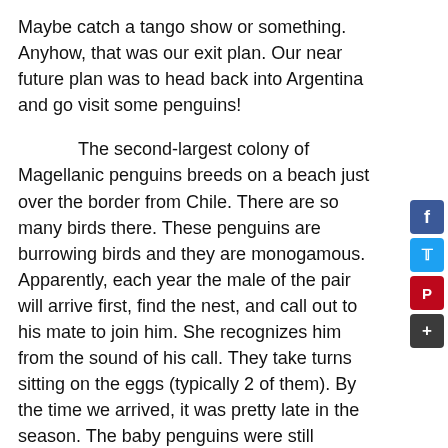Maybe catch a tango show or something. Anyhow, that was our exit plan. Our near future plan was to head back into Argentina and go visit some penguins!
The second-largest colony of Magellanic penguins breeds on a beach just over the border from Chile. There are so many birds there. These penguins are burrowing birds and they are monogamous. Apparently, each year the male of the pair will arrive first, find the nest, and call out to his mate to join him. She recognizes him from the sound of his call. They take turns sitting on the eggs (typically 2 of them). By the time we arrived, it was pretty late in the season. The baby penguins were still scruffy, but sporting quite a bit of their adult plumage. Both parents would leave for the day to go out fishing to return in the evening and feed the chicks. We wanted to time our visit to see the adults returning from the sea. We pulled into the visitor's center but it was closed.